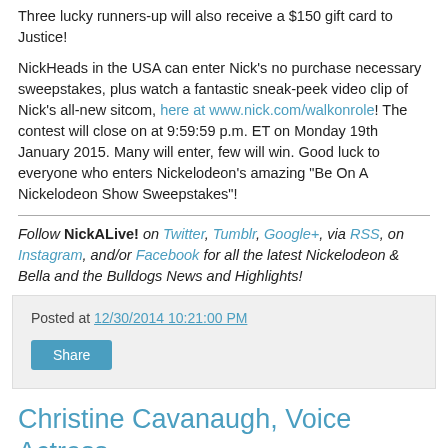Three lucky runners-up will also receive a $150 gift card to Justice!
NickHeads in the USA can enter Nick's no purchase necessary sweepstakes, plus watch a fantastic sneak-peek video clip of Nick's all-new sitcom, here at www.nick.com/walkonrole! The contest will close on at 9:59:59 p.m. ET on Monday 19th January 2015. Many will enter, few will win. Good luck to everyone who enters Nickelodeon's amazing "Be On A Nickelodeon Show Sweepstakes"!
Follow NickALive! on Twitter, Tumblr, Google+, via RSS, on Instagram, and/or Facebook for all the latest Nickelodeon & Bella and the Bulldogs News and Highlights!
Posted at 12/30/2014 10:21:00 PM
Share
Christine Cavanaugh, Voice Actress